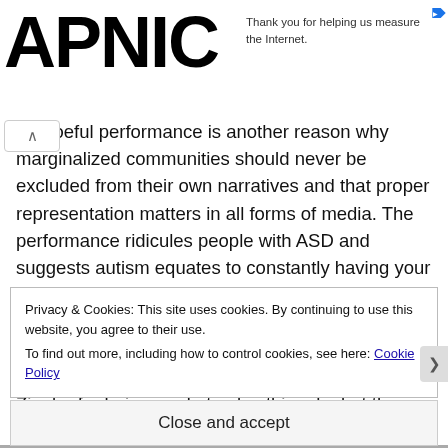APNIC
Thank you for helping us measure the Internet.
r's woeful performance is another reason why marginalized communities should never be excluded from their own narratives and that proper representation matters in all forms of media. The performance ridicules people with ASD and suggests autism equates to constantly having your starry, twinkly eyes wide open and your mouth always agape, making a lot of odd noises, moving jaggedly, and hitting yourself in the head a lot — it's very upsetting to witness. I almost feel sorry for Ziegler for being made to play this role, but then again, she still went through with it when she easily could have stepped
Privacy & Cookies: This site uses cookies. By continuing to use this website, you agree to their use.
To find out more, including how to control cookies, see here: Cookie Policy
Close and accept